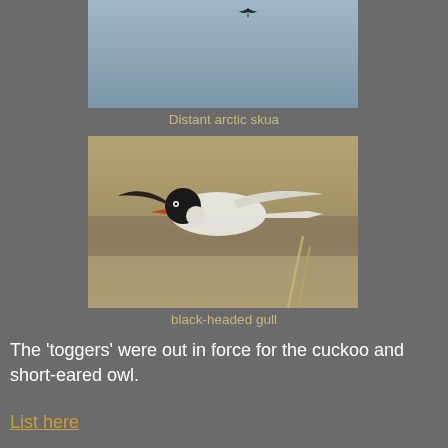[Figure (photo): Distant arctic skua bird silhouette against a grey-blue sky]
Distant arctic skua
[Figure (photo): A black-headed gull in flight against a blurred brown field background]
black-headed gull
The 'toggers' were out in force for the cuckoo and short-eared owl.
List here